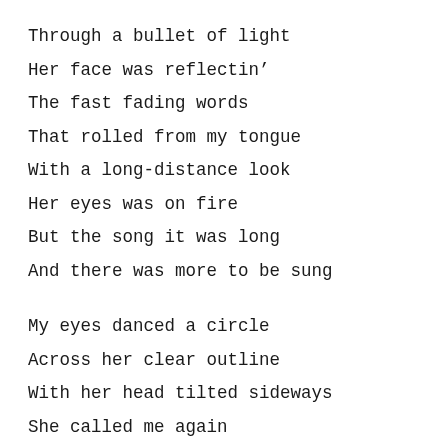Through a bullet of light
Her face was reflectin'
The fast fading words
That rolled from my tongue
With a long-distance look
Her eyes was on fire
But the song it was long
And there was more to be sung
My eyes danced a circle
Across her clear outline
With her head tilted sideways
She called me again